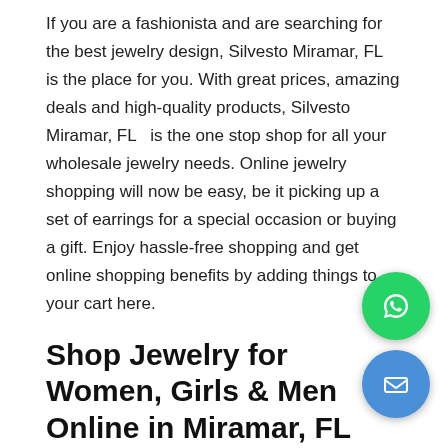If you are a fashionista and are searching for the best jewelry design, Silvesto Miramar, FL  is the place for you. With great prices, amazing deals and high-quality products, Silvesto Miramar, FL  is the one stop shop for all your wholesale jewelry needs. Online jewelry shopping will now be easy, be it picking up a set of earrings for a special occasion or buying a gift. Enjoy hassle-free shopping and get online shopping benefits by adding things to your cart here.
Shop Jewelry for Women, Girls & Men Online in Miramar, FL  at Wholesale Price
At Silvesto Miramar, FL , we create our jewelry to serve as beautiful experiences plated in 22kt gold. We want you to choose from our vast collection of women's designer fashion Jewelry and make your pick to express yourself and tell your story to the world. Our handmade pieces are distinct yet pleasing and we...
[Figure (other): WhatsApp floating action button (green circle with phone/WhatsApp icon)]
[Figure (other): Email floating action button (blue circle with envelope/email icon)]